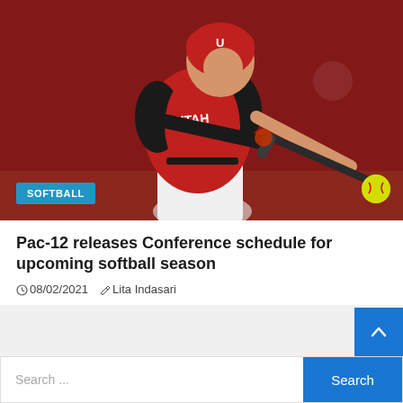[Figure (photo): Softball player in red Utah uniform swinging a bat at a yellow softball, against a dark red background. Blue badge reading SOFTBALL overlaid at bottom left.]
Pac-12 releases Conference schedule for upcoming softball season
08/02/2021   Lita Indasari